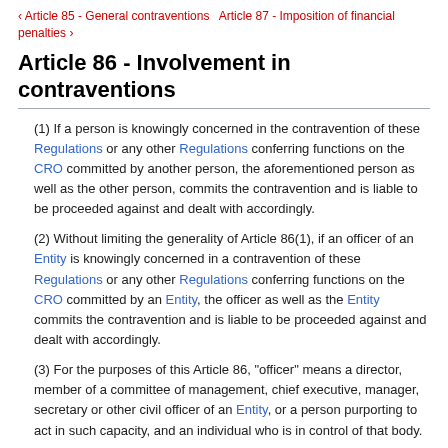‹ Article 85 - General contraventions   Article 87 - Imposition of financial penalties ›
Article 86 - Involvement in contraventions
(1) If a person is knowingly concerned in the contravention of these Regulations or any other Regulations conferring functions on the CRO committed by another person, the aforementioned person as well as the other person, commits the contravention and is liable to be proceeded against and dealt with accordingly.
(2) Without limiting the generality of Article 86(1), if an officer of an Entity is knowingly concerned in a contravention of these Regulations or any other Regulations conferring functions on the CRO committed by an Entity, the officer as well as the Entity commits the contravention and is liable to be proceeded against and dealt with accordingly.
(3) For the purposes of this Article 86, "officer" means a director, member of a committee of management, chief executive, manager, secretary or other civil officer of an Entity, or a person purporting to act in such capacity, and an individual who is in control of that body.
(4) For the purposes of this Article 86, a person is "knowingly concerned" in a contravention if, and only if, the person: